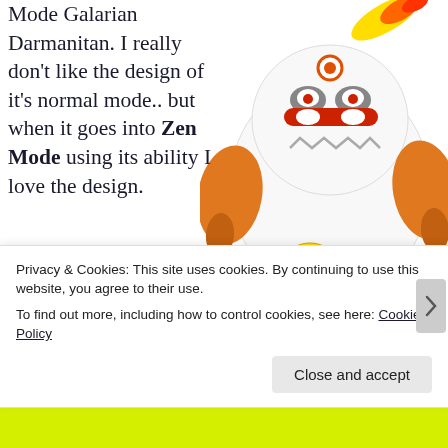Mode Galarian Darmanitan. I really don't like the design of it's normal mode.. but when it goes into Zen Mode using its ability I love the design. The fire and ice typing is fun as well.. but SO much ice types have quad weaknesses and this on does as well.  Given that Zen Mode Galarian
[Figure (illustration): Illustration of Zen Mode Galarian Darmanitan - a round white creature with orange arms, a red mask-like face marking, a flame/comet on top of its head, and glowing yellow spots on its body]
Privacy & Cookies: This site uses cookies. By continuing to use this website, you agree to their use.
To find out more, including how to control cookies, see here: Cookie Policy
Close and accept